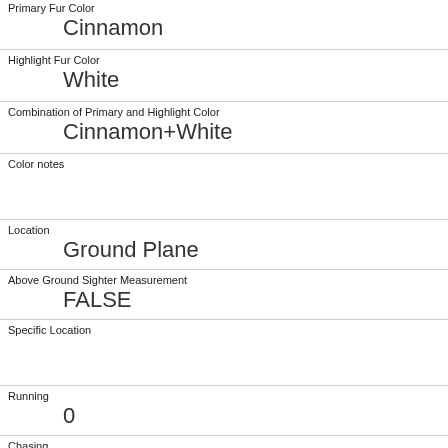| Primary Fur Color | Cinnamon |
| Highlight Fur Color | White |
| Combination of Primary and Highlight Color | Cinnamon+White |
| Color notes |  |
| Location | Ground Plane |
| Above Ground Sighter Measurement | FALSE |
| Specific Location |  |
| Running | 0 |
| Chasing | 1 |
| Climbing | 0 |
| Eating |  |